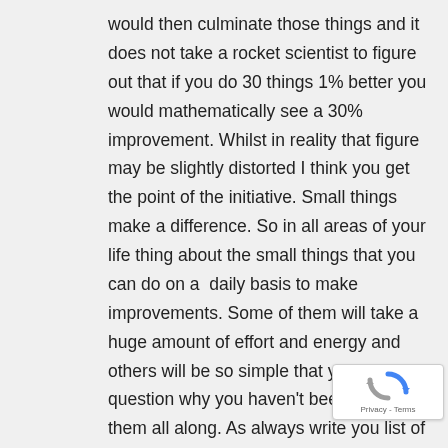would then culminate those things and it does not take a rocket scientist to figure out that if you do 30 things 1% better you would mathematically see a 30% improvement. Whilst in reality that figure may be slightly distorted I think you get the point of the initiative. Small things make a difference. So in all areas of your life thing about the small things that you can do on a  daily basis to make improvements. Some of them will take a huge amount of effort and energy and others will be so simple that you will question why you haven't been doing them all along. As always write you list of things down and reflect weekly on 1) Wha...
[Figure (other): reCAPTCHA badge with spinning arrows logo and 'Privacy - Terms' text]